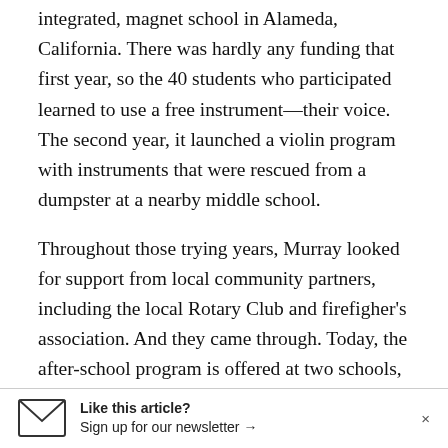integrated, magnet school in Alameda, California. There was hardly any funding that first year, so the 40 students who participated learned to use a free instrument—their voice. The second year, it launched a violin program with instruments that were rescued from a dumpster at a nearby middle school.
Throughout those trying years, Murray looked for support from local community partners, including the local Rotary Club and firefigher's association. And they came through. Today, the after-school program is offered at two schools, serving about 160 children.
Like this article? Sign up for our newsletter →